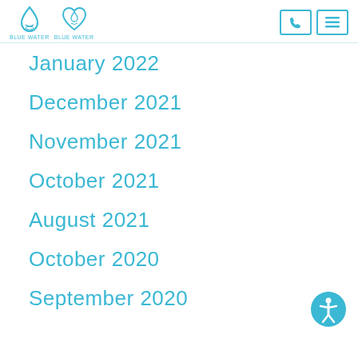Blue Water Blue Water
January 2022
December 2021
November 2021
October 2021
August 2021
October 2020
September 2020
[Figure (illustration): Accessibility icon - teal circle with white person figure arms outstretched]